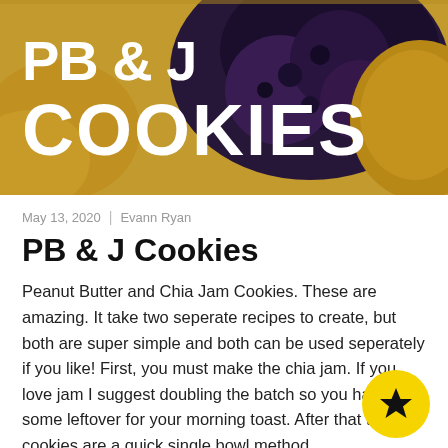[Figure (photo): Close-up photo of a PB & J cookie with dark jam filling, with bold white text overlay reading 'PB & J COOKIES' on a golden-brown background]
May 13, 2020 | Evann Ryan
PB & J Cookies
Peanut Butter and Chia Jam Cookies. These are amazing. It take two seperate recipes to create, but both are super simple and both can be used seperately if you like! First, you must make the chia jam. If you love jam I suggest doubling the batch so you have some leftover for your morning toast. After that the cookies are a quick single bowl method.
Jam recipe
1 cup frozen fruit, I used cherries, SO good